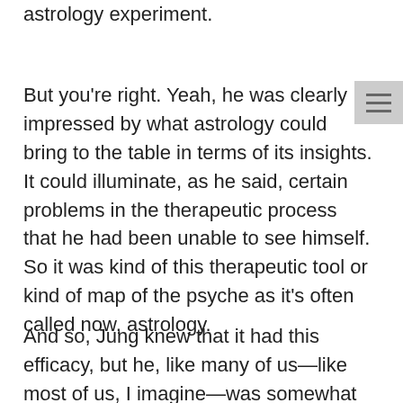astrology experiment.
But you're right. Yeah, he was clearly impressed by what astrology could bring to the table in terms of its insights. It could illuminate, as he said, certain problems in the therapeutic process that he had been unable to see himself. So it was kind of this therapeutic tool or kind of map of the psyche as it's often called now, astrology.
And so, Jung knew that it had this efficacy, but he, like many of us—like most of us, I imagine—was somewhat perplexed by how it could actually work. So yeah, one of the things that comes out in this book is Jung groping first in one direction then in another as he tries to understand for